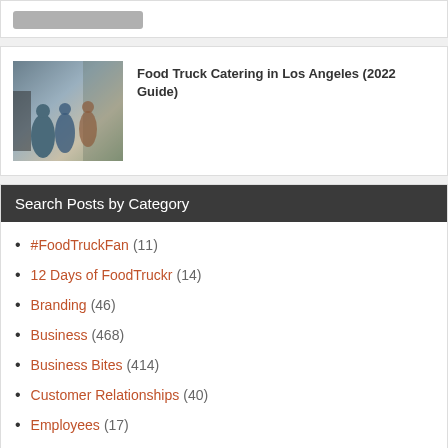[Figure (other): Top card with a gray button/bar element]
[Figure (photo): Photo of people gathered around a food truck, woman in blue dress visible]
Food Truck Catering in Los Angeles (2022 Guide)
Search Posts by Category
#FoodTruckFan (11)
12 Days of FoodTruckr (14)
Branding (46)
Business (468)
Business Bites (414)
Customer Relationships (40)
Employees (17)
Events (20)